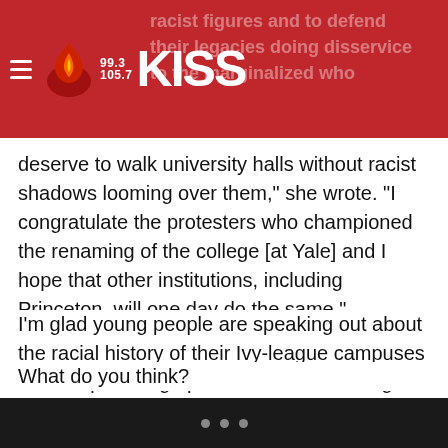99.3 105.7 KISS — radio station logo header
racist figures and to defend their legacies does disservice to the marginalized who deserve to walk university halls without racist shadows looming over them," she wrote. "I congratulate the protesters who championed the renaming of the college [at Yale] and I hope that other institutions, including Princeton, will one day do the same."
I'm glad young people are speaking out about the racial history of their Ivy-league campuses and I hope college presidents are listening.
What do you think?
Like BlackAmericaWeb.com on Facebook. Follow us on Twitter.
• • •